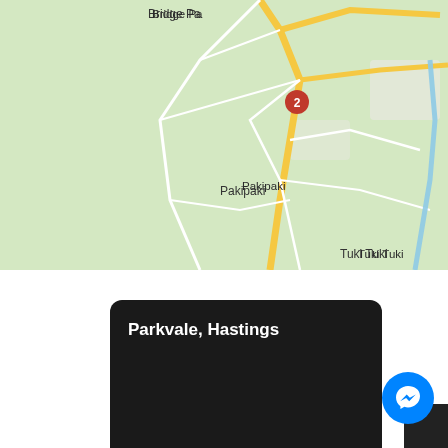[Figure (map): Google Maps screenshot showing Havelock North, Pakipaki, Tuki Tuki, and Bridge Pa areas in New Zealand, with road 2 marked and yellow roads visible on green map background.]
Parkvale, Hastings
More Info